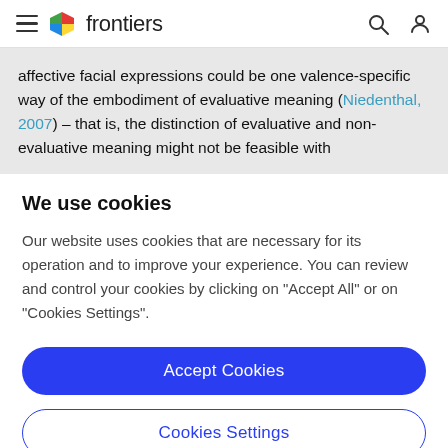frontiers
affective facial expressions could be one valence-specific way of the embodiment of evaluative meaning (Niedenthal, 2007) – that is, the distinction of evaluative and non-evaluative meaning might not be feasible with
We use cookies
Our website uses cookies that are necessary for its operation and to improve your experience. You can review and control your cookies by clicking on "Accept All" or on "Cookies Settings".
Accept Cookies
Cookies Settings